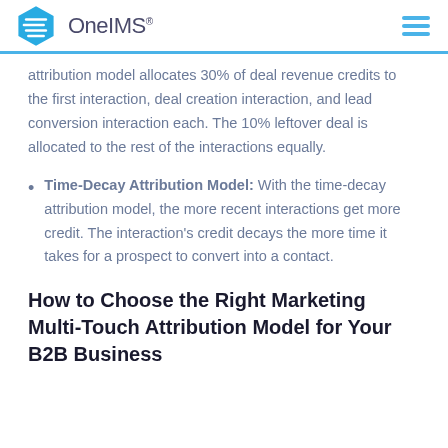OneIMS
attribution model allocates 30% of deal revenue credits to the first interaction, deal creation interaction, and lead conversion interaction each. The 10% leftover deal is allocated to the rest of the interactions equally.
Time-Decay Attribution Model: With the time-decay attribution model, the more recent interactions get more credit. The interaction's credit decays the more time it takes for a prospect to convert into a contact.
How to Choose the Right Marketing Multi-Touch Attribution Model for Your B2B Business